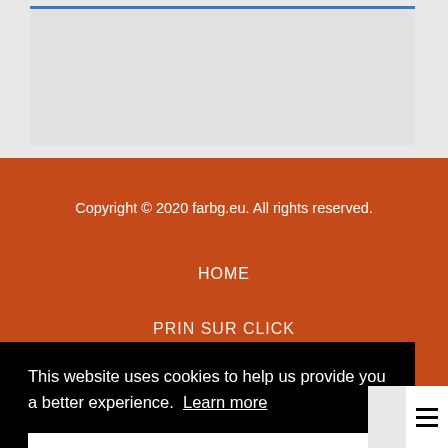[Figure (screenshot): Top portion shows a light grey card/box area with a blue top border, on an orange-rust background]
Copyright © 2020 farbg.eu. All rights reserved.
HOME
PRIN SUR CLICK
This website uses cookies to help us provide you a better experience. Learn more
Got it!